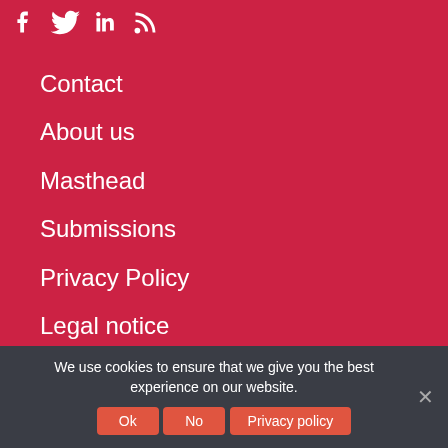[Figure (logo): Social media icons: Facebook, Twitter, LinkedIn, RSS feed - white icons on red background]
Contact
About us
Masthead
Submissions
Privacy Policy
Legal notice
Advertising
We use cookies to ensure that we give you the best experience on our website.
Ok | No | Privacy policy